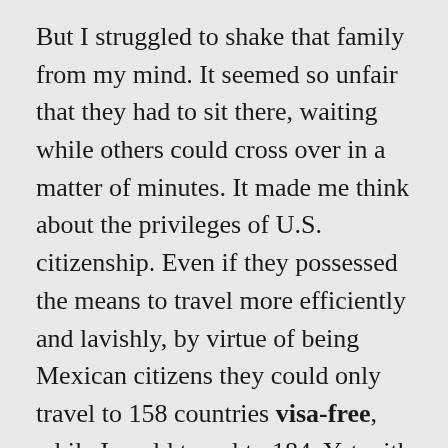But I struggled to shake that family from my mind. It seemed so unfair that they had to sit there, waiting while others could cross over in a matter of minutes. It made me think about the privileges of U.S. citizenship. Even if they possessed the means to travel more efficiently and lavishly, by virtue of being Mexican citizens they could only travel to 158 countries visa-free, while I could travel to 184. Yet with their passports, they're in a much better situation than someone born in Ethiopia. An Ethiopian passport only